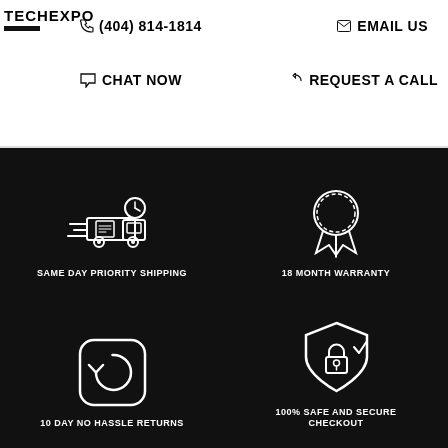TECHEXPO
(404) 814-1814
EMAIL US
CHAT NOW
REQUEST A CALL
[Figure (infographic): Four icons on black background: delivery truck (SAME DAY PRIORITY SHIPPING), medal/ribbon (18 MONTH WARRANTY), refresh/return arrow icon (10 DAY NO HASSLE RETURNS), shield with lock (100% SAFE AND SECURE CHECKOUT)]